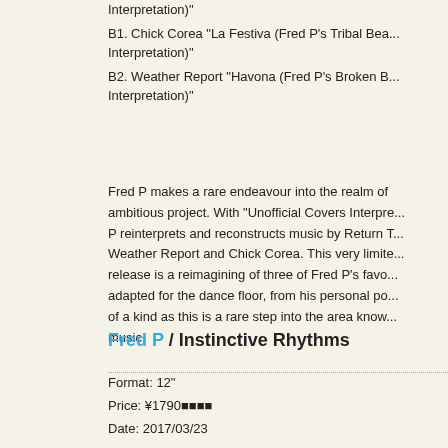Interpretation)"
B1. Chick Corea "La Festiva (Fred P's Tribal Bea... Interpretation)"
B2. Weather Report "Havona (Fred P's Broken B... Interpretation)"
Fred P makes a rare endeavour into the realm of ambitious project. With “Unofficial Covers Interpre... P reinterprets and reconstructs music by Return T... Weather Report and Chick Corea. This very limite... release is a reimagining of three of Fred P's favo... adapted for the dance floor, from his personal po... of a kind as this is a rare step into the area know... music.
Fred P / Instinctive Rhythms
Format: 12"
Price: ¥1790■■■■
Date: 2017/03/23